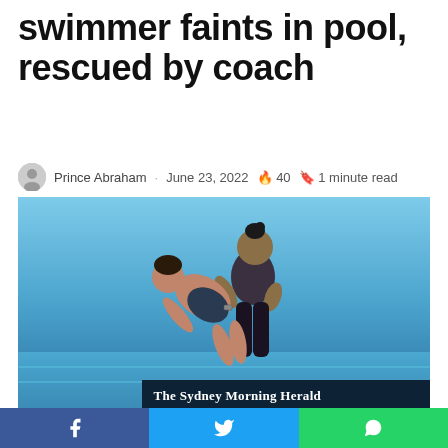swimmer faints in pool, rescued by coach
Prince Abraham · June 23, 2022 🔥 40 🔖 1 minute read
[Figure (photo): A coach rescuing an unconscious swimmer in a pool, with The Sydney Morning Herald watermark overlay]
Facebook share | Twitter share | WhatsApp share